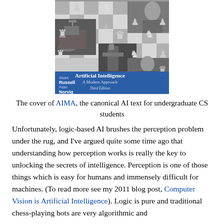[Figure (illustration): Book cover of 'Artificial Intelligence: A Modern Approach, Third Edition' by Stuart Russell and Peter Norvig. Features a chess-themed collage with chess pieces, historical photos including Alan Turing, a Mars rover, and a robot, on a blue and checkered background.]
The cover of AIMA, the canonical AI text for undergraduate CS students
Unfortunately, logic-based AI brushes the perception problem under the rug, and I've argued quite some time ago that understanding how perception works is really the key to unlocking the secrets of intelligence. Perception is one of those things which is easy for humans and immensely difficult for machines. (To read more see my 2011 blog post, Computer Vision is Artificial Intelligence). Logic is pure and traditional chess-playing bots are very algorithmic and